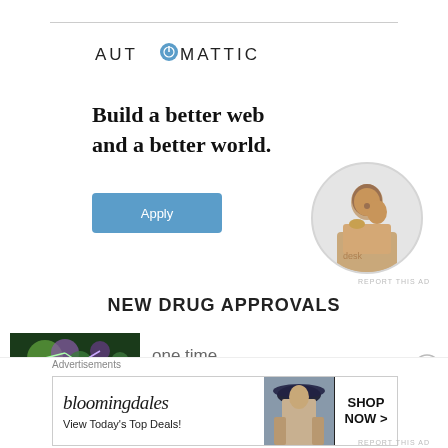[Figure (logo): Automattic logo with circular compass/gear icon replacing the O]
Build a better web and a better world.
[Figure (illustration): Apply button (blue rounded rectangle)]
[Figure (photo): Circular photo of a Black man sitting at a desk, looking thoughtfully upward, resting his hand on his chin]
REPORT THIS AD
NEW DRUG APPROVALS
[Figure (photo): Thumbnail image of colorful molecular/chemistry illustration in green and purple tones]
one time
Advertisements
[Figure (infographic): Bloomingdale's advertisement banner: bloomingdales logo, 'View Today's Top Deals!', woman in hat, SHOP NOW button]